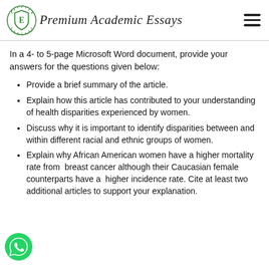Premium Academic Essays
In a 4- to 5-page Microsoft Word document, provide your answers for the questions given below:
Provide a brief summary of the article.
Explain how this article has contributed to your understanding of health disparities experienced by women.
Discuss why it is important to identify disparities between and within different racial and ethnic groups of women.
Explain why African American women have a higher mortality rate from breast cancer although their Caucasian female counterparts have a higher incidence rate. Cite at least two additional articles to support your explanation.